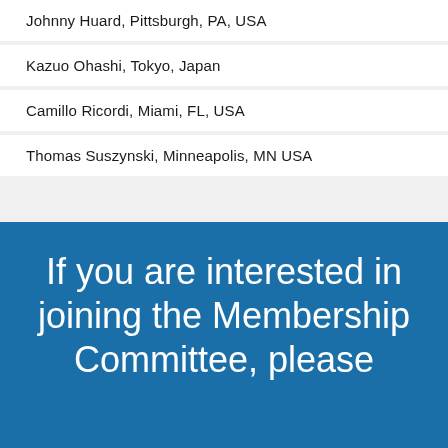Johnny Huard, Pittsburgh, PA, USA
Kazuo Ohashi, Tokyo, Japan
Camillo Ricordi, Miami, FL, USA
Thomas Suszynski, Minneapolis, MN USA
If you are interested in joining the Membership Committee, please